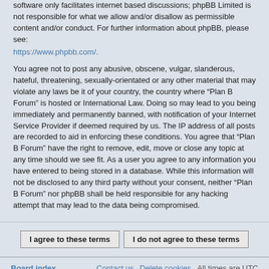software only facilitates internet based discussions; phpBB Limited is not responsible for what we allow and/or disallow as permissible content and/or conduct. For further information about phpBB, please see: https://www.phpbb.com/.
You agree not to post any abusive, obscene, vulgar, slanderous, hateful, threatening, sexually-orientated or any other material that may violate any laws be it of your country, the country where “Plan B Forum” is hosted or International Law. Doing so may lead to you being immediately and permanently banned, with notification of your Internet Service Provider if deemed required by us. The IP address of all posts are recorded to aid in enforcing these conditions. You agree that “Plan B Forum” have the right to remove, edit, move or close any topic at any time should we see fit. As a user you agree to any information you have entered to being stored in a database. While this information will not be disclosed to any third party without your consent, neither “Plan B Forum” nor phpBB shall be held responsible for any hacking attempt that may lead to the data being compromised.
I agree to these terms
I do not agree to these terms
Board index | Contact us | Delete cookies | All times are UTC
Powered by phpBB® Forum Software © phpBB Limited | Privacy | Terms